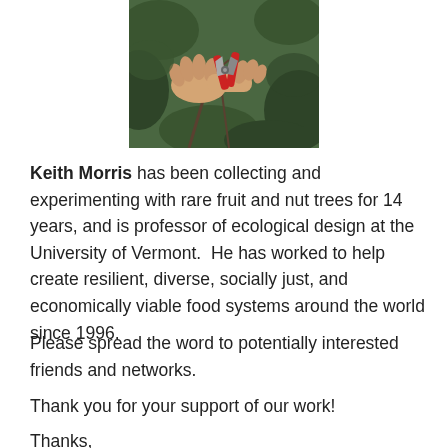[Figure (photo): Close-up photo of hands using red-handled pruning shears to cut plant stems among green foliage.]
Keith Morris has been collecting and experimenting with rare fruit and nut trees for 14 years, and is professor of ecological design at the University of Vermont.  He has worked to help create resilient, diverse, socially just, and economically viable food systems around the world since 1996.
Please spread the word to potentially interested friends and networks.
Thank you for your support of our work!
Thanks,
Keith and Crew